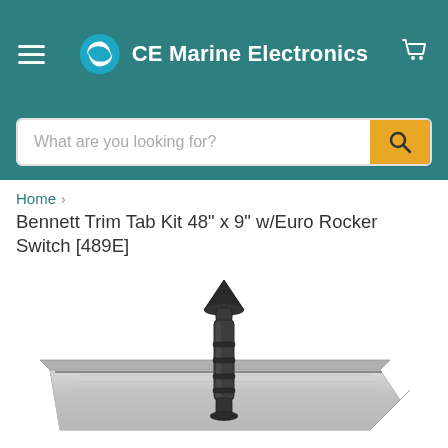CE Marine Electronics
What are you looking for?
Home › Bennett Trim Tab Kit 48" x 9" w/Euro Rocker Switch [489E]
Bennett Trim Tab Kit 48" x 9" w/Euro Rocker Switch [489E]
[Figure (photo): Bennett trim tab kit showing a stainless steel trim tab plate with a mounted hydraulic actuator/cylinder in dark metallic finish, photographed from above on white background.]